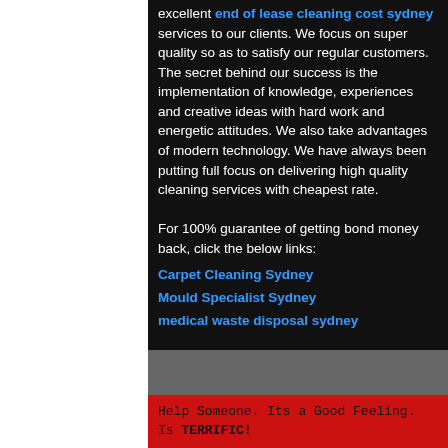excellent end of lease cleaning cost sydney services to our clients. We focus on super quality so as to satisfy our regular customers.
The secret behind our success is the implementation of knowledge, experiences and creative ideas with hard work and energetic attitudes. We also take advantages of modern technology. We have always been putting full focus on delivering high quality cleaning services with cheapest rate.

For 100% guarantee of getting bond money back, click the below links:
Carpet Cleaning Sydney
Mould Specialist Sydney
medical waste disposal sydney
Help Someone. Its a Good Feeling.
Is TERRIFIC!